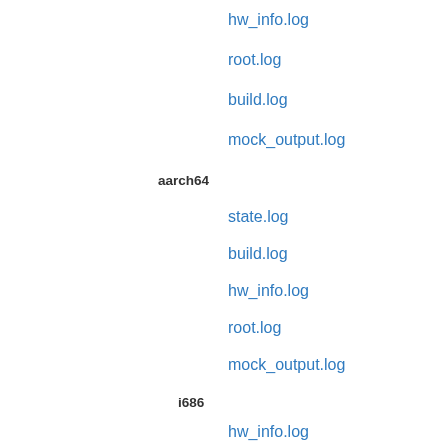hw_info.log
root.log
build.log
mock_output.log
aarch64
state.log
build.log
hw_info.log
root.log
mock_output.log
i686
hw_info.log
state.log
build.log
root.log
mock_output.log
s390x
hw_info.log
state.log